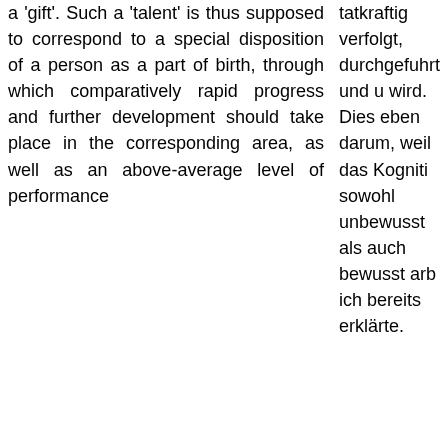a 'gift'. Such a 'talent' is thus supposed to correspond to a special disposition of a person as a part of birth, through which comparatively rapid progress and further development should take place in the corresponding area, as well as an above-average level of performance
tatkraftig verfolgt, durchgefuhrt und u wird. Dies eben darum, weil das Kogniti sowohl unbewusst als auch bewusst arb ich bereits erklärte.